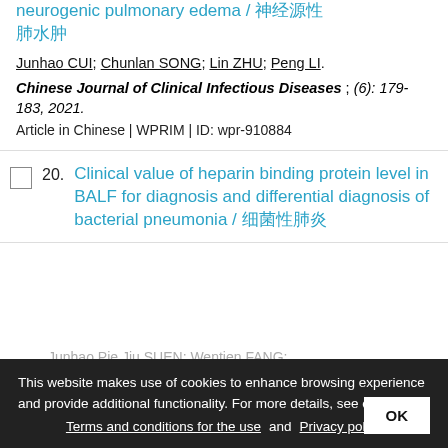neurogenic pulmonary edema / 神经源性肺水肿
Junhao CUI; Chunlan SONG; Lin ZHU; Peng LI.
Chinese Journal of Clinical Infectious Diseases ; (6): 179-183, 2021.
Article in Chinese | WPRIM | ID: wpr-910884
Clinical value of heparin binding protein level in BALF for diagnosis and differential diagnosis of bacterial pneumonia / 细菌性肺炎
This website makes use of cookies to enhance browsing experience and provide additional functionality. For more details, see ours: Terms and conditions for the use and Privacy policy
OK